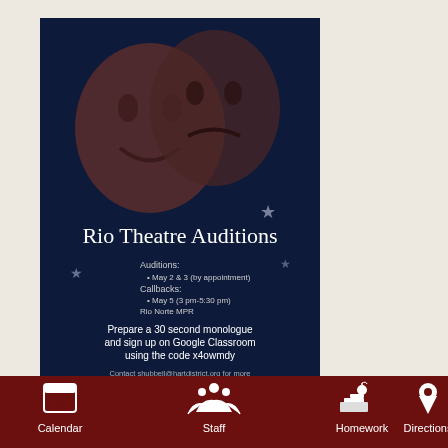[Figure (illustration): Theatre audition poster with dark navy background featuring drama masks. Title: Rio Theatre Auditions. Details about auditions on May 2 & 3 by appointment, callbacks May 5 3pm-5:30pm at Rio Norte MPR. Instructions to prepare a 30 second monologue and sign up on Google Classroom using code x4owmdy. Contact shubbell@hartdistrict.org for more information.]
Course Description: Theatre Production is a year long elective for students with a more advanced skill level who want to perform in front of an audience. Students work together to produce work for scene competitions as well as plays and musicals. This class focuses on
[Figure (infographic): Bottom navigation bar with dark red/maroon background. Four navigation items: Calendar (icon of calendar showing 26), Staff (icon of group of people), Homework (icon of books with apple), Directions (icon of map pin/location marker).]